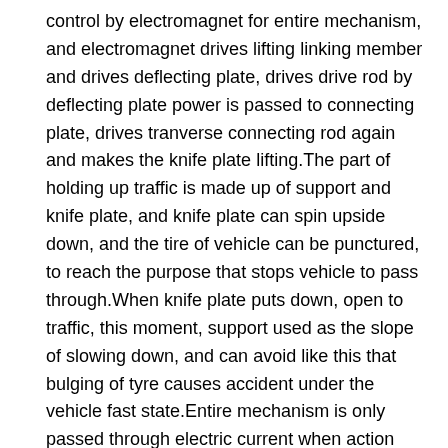control by electromagnet for entire mechanism, and electromagnet drives lifting linking member and drives deflecting plate, drives drive rod by deflecting plate power is passed to connecting plate, drives tranverse connecting rod again and makes the knife plate lifting.The part of holding up traffic is made up of support and knife plate, and knife plate can spin upside down, and the tire of vehicle can be punctured, to reach the purpose that stops vehicle to pass through.When knife plate puts down, open to traffic, this moment, support used as the slope of slowing down, and can avoid like this that bulging of tyre causes accident under the vehicle fast state.Entire mechanism is only passed through electric current when action takes place knife plate, when knife plate is in the duty that rises and fall, and no power.Because adopt electromagnet as power, the knife plate action is fast, but the moment execution, and the possibility that makes vehicle dash the pass drops to minimum.Support can directly be fixed on the road surface with expansion bolt, simple installation, and maintenance is easy, and simultaneously, this structure does not need to do drainage system, greatly reduces the workload of installation, and